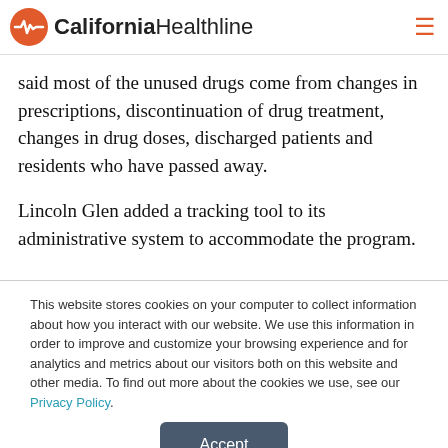California Healthline
said most of the unused drugs come from changes in prescriptions, discontinuation of drug treatment, changes in drug doses, discharged patients and residents who have passed away.
Lincoln Glen added a tracking tool to its administrative system to accommodate the program.
This website stores cookies on your computer to collect information about how you interact with our website. We use this information in order to improve and customize your browsing experience and for analytics and metrics about our visitors both on this website and other media. To find out more about the cookies we use, see our Privacy Policy.
Accept